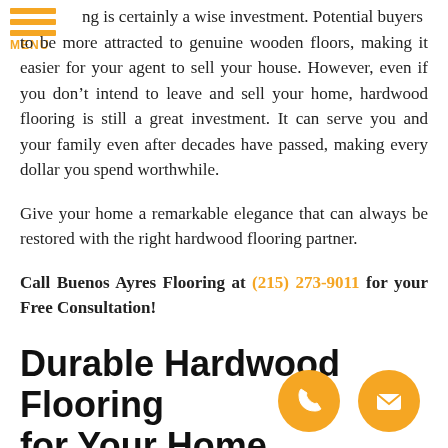[Figure (logo): Orange hamburger menu icon with three horizontal bars and MENU text below in orange]
ng is certainly a wise investment. Potential buyers to be more attracted to genuine wooden floors, making it easier for your agent to sell your house. However, even if you don't intend to leave and sell your home, hardwood flooring is still a great investment. It can serve you and your family even after decades have passed, making every dollar you spend worthwhile.
Give your home a remarkable elegance that can always be restored with the right hardwood flooring partner.
Call Buenos Ayres Flooring at (215) 273-9011 for your Free Consultation!
Durable Hardwood Flooring for Your Home
More than beauty, your flooring should have proven durability and longevity if you have kids, pets, or a big family. Fortunately, hardwood flooring can do that and act equally...
[Figure (illustration): Orange circular phone icon]
[Figure (illustration): Orange circular email/envelope icon]